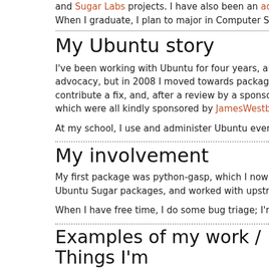and Sugar Labs projects. I have also been an administrator on
When I graduate, I plan to major in Computer Science or Comp
My Ubuntu story
I've been working with Ubuntu for four years, and contributing advocacy, but in 2008 I moved towards packaging. What intere contribute a fix, and, after a review by a sponsor, have it make which were all kindly sponsored by JamesWestby.
At my school, I use and administer Ubuntu every day in our Co
My involvement
My first package was python-gasp, which I now maintain in De Ubuntu Sugar packages, and worked with upstream to integrat
When I have free time, I do some bug triage; I'm a member of
Examples of my work / Things I'm
In the most recent development cycle, I handled the migration